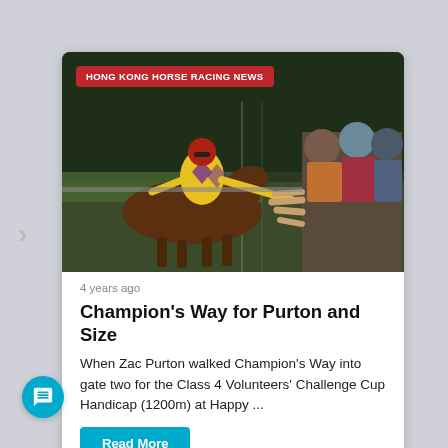[Figure (photo): A jockey in yellow and purple silks on horseback, reaching out to high-five fans along the railing at a horse racing track. A red badge overlay reads HONG KONG HORSE RACING NEWS.]
4 years ago
Champion's Way for Purton and Size
When Zac Purton walked Champion's Way into gate two for the Class 4 Volunteers' Challenge Cup Handicap (1200m) at Happy ...
Read More